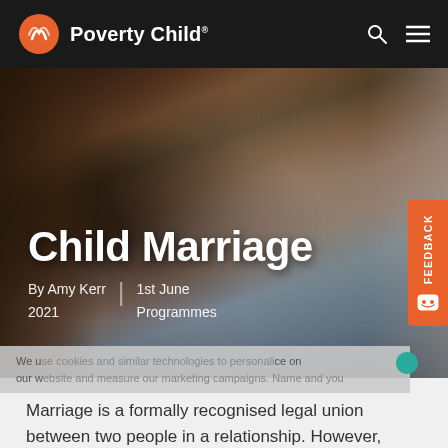Poverty Child
[Figure (photo): A young girl peering through a wooden doorway, wearing a blue shirt, photographed in a developing country setting. Used as hero image for the Child Marriage article.]
Child Marriage
By Amy Kerr | 1st June 2021 | Programmes
Marriage is a formally recognised legal union between two people in a relationship. However, many girls around the world are subject to marriage against their will at a very young age. Child marriage occurs where at least one party to the marriage is under 18 years old. It is a type of forced marriage as one party